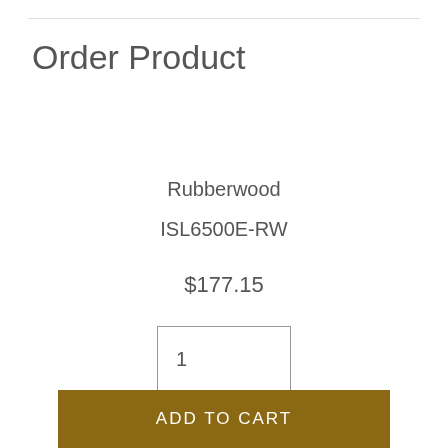Order Product
Rubberwood
ISL6500E-RW
$177.15
1
ADD TO CART